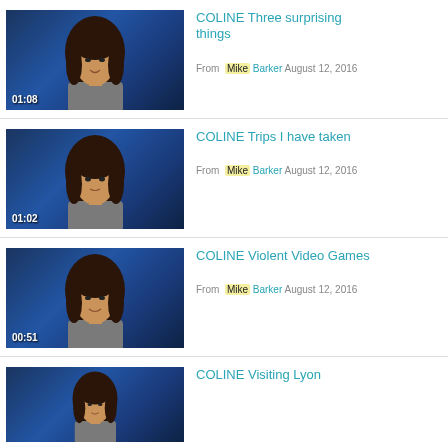[Figure (screenshot): Video thumbnail showing a woman speaking against a blue background, duration 01:08]
COLINE Three surprising things
From Mike Barker August 12, 2016
[Figure (screenshot): Video thumbnail showing a woman speaking against a blue background, duration 01:02]
COLINE Trips I have taken
From Mike Barker August 12, 2016
[Figure (screenshot): Video thumbnail showing a woman speaking against a blue background, duration 00:51]
COLINE Violent Video Games
From Mike Barker August 12, 2016
[Figure (screenshot): Video thumbnail showing a woman speaking against a blue background, partially visible]
COLINE Visiting Lyon